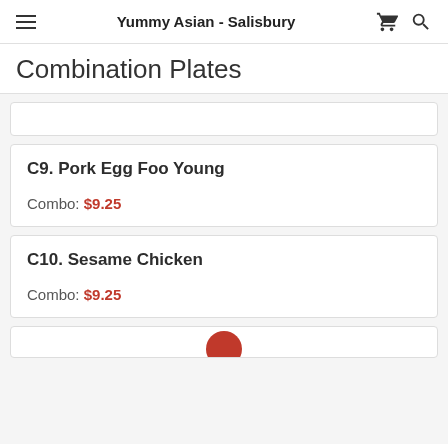Yummy Asian - Salisbury
Combination Plates
C9. Pork Egg Foo Young
Combo: $9.25
C10. Sesame Chicken
Combo: $9.25